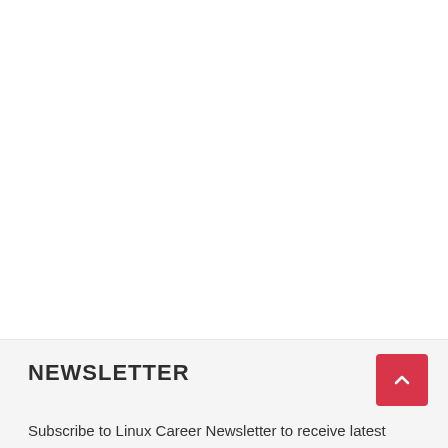NEWSLETTER
Subscribe to Linux Career Newsletter to receive latest